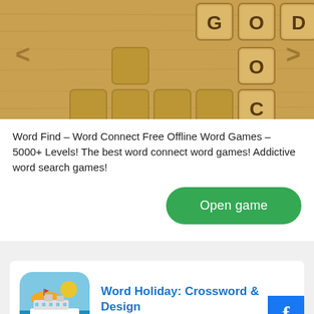[Figure (screenshot): Word Find game screenshot showing wooden crossword board with letter tiles spelling GOD and partial word with O and C tiles on a wood-textured background with navigation arrows]
Word Find – Word Connect Free Offline Word Games – 5000+ Levels! The best word connect word games! Addictive word search games!
[Figure (illustration): Green rounded rectangle button with white text 'Open game']
[Figure (illustration): Word Holiday: Crossword & Design app icon showing beach holiday scene with cruise ship, umbrella and holiday text]
Word Holiday: Crossword & Design
Word